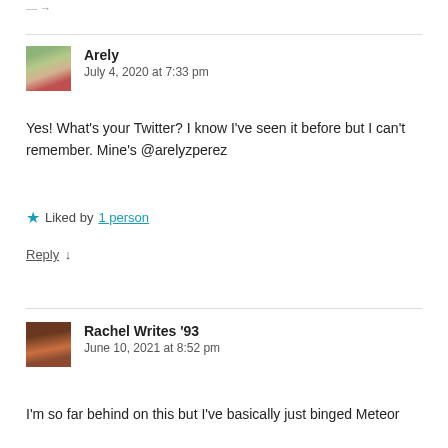— →
Arely
July 4, 2020 at 7:33 pm
Yes! What's your Twitter? I know I've seen it before but I can't remember. Mine's @arelyzperez
★ Liked by 1 person
Reply ↓
Rachel Writes '93
June 10, 2021 at 8:52 pm
I'm so far behind on this but I've basically just binged Meteor